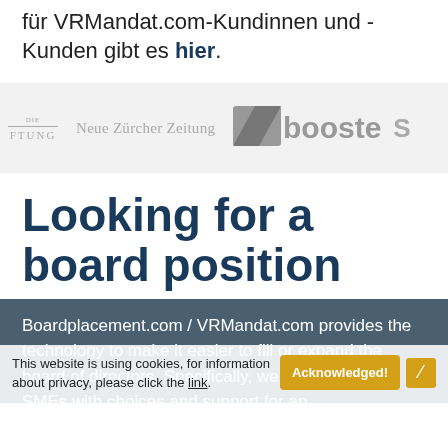für VRMandat.com-Kundinnen und -Kunden gibt es hier.
[Figure (logo): Media logos strip: DIE STIFTUNG, Neue Zürcher Zeitung, booster, and a partially visible logo]
Looking for a board position
Boardplacement.com / VRMandat.com provides the technology to make it easier to fill or expand the board of directors. Specifically, we want to provide SMEs with choices and support for an
This website is using cookies, for information about privacy, please click the link.
Acknowledged!